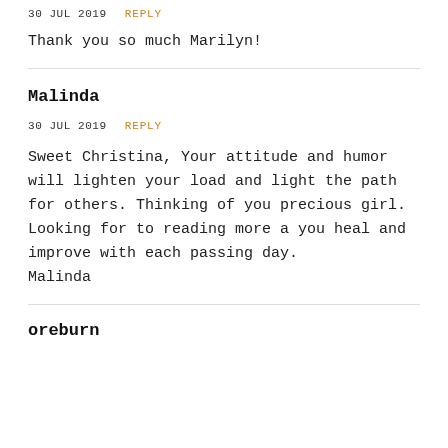30 JUL 2019    REPLY
Thank you so much Marilyn!
Malinda
30 JUL 2019    REPLY
Sweet Christina, Your attitude and humor will lighten your load and light the path for others. Thinking of you precious girl. Looking for to reading more a you heal and improve with each passing day.
Malinda
oreburn